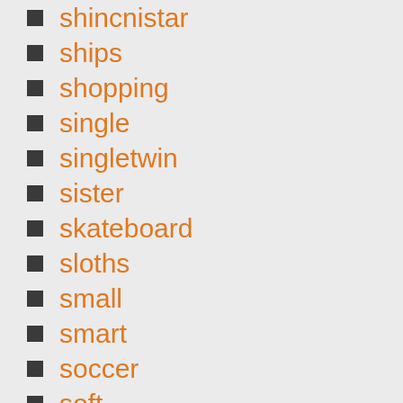shincnistar
ships
shopping
single
singletwin
sister
skateboard
sloths
small
smart
soccer
soft
solid
sonic
space
span
speedster
spider-man
spiderman
spongebob
sport
sports
sporty
stackable